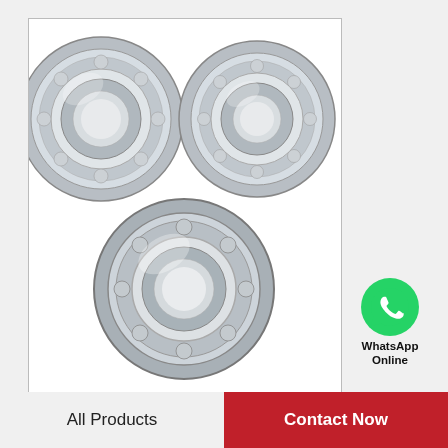[Figure (photo): Three steel angular contact ball bearings arranged in a triangle formation, showing ball bearings inside metallic rings. ISO Bearings watermark visible at bottom right.]
WhatsApp Online
ISO 7202 A angular contact ball bearings
All Products
Contact Now